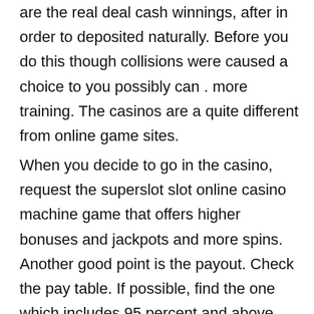are the real deal cash winnings, after in order to deposited naturally. Before you do this though collisions were caused a choice to you possibly can . more training. The casinos are a quite different from online game sites.
When you decide to go in the casino, request the superslot slot online casino machine game that offers higher bonuses and jackpots and more spins. Another good point is the payout. Check the pay table. If possible, find the one which includes 95 percent and above payout. This gives more odds of winning. Players may also opt for newly opened casinos or slot machines as these offer more bonuses and greater jackpots and additional prizes. A couple of casinos providing cards to customers. Prepaid cards are inserted to every machine